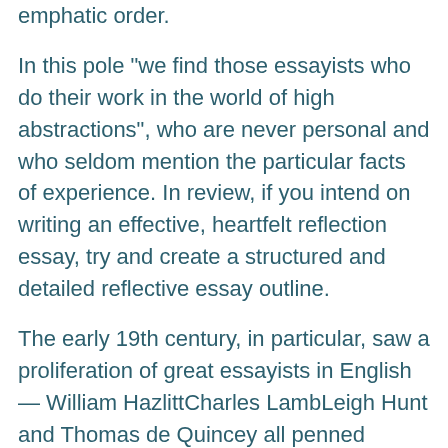emphatic order.
In this pole "we find those essayists who do their work in the world of high abstractions", who are never personal and who seldom mention the particular facts of experience. In review, if you intend on writing an effective, heartfelt reflection essay, try and create a structured and detailed reflective essay outline.
The early 19th century, in particular, saw a proliferation of great essayists in English — William HazlittCharles LambLeigh Hunt and Thomas de Quincey all penned numerous essays on diverse subjects.
Stories of warrior women such as Hua Mulan and various militant Ninja types appear regularly in classical Chinese fiction. More accurately, the law protects us precisely in spite of the beliefs of others who, in their own worldviewmay